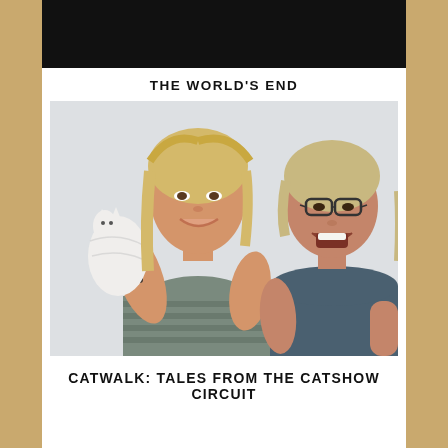[Figure (photo): Black rectangular image at top, partially visible, dark/black background suggesting a movie or show title card]
THE WORLD'S END
[Figure (photo): Two middle-aged women sitting side by side against a light grey/white background. The woman on the left is blonde, smiling, wearing a grey striped sleeveless top, holding a white cat. The woman on the right has glasses, mouth open laughing, wearing a dark navy blue short-sleeve top.]
CATWALK: TALES FROM THE CATSHOW CIRCUIT